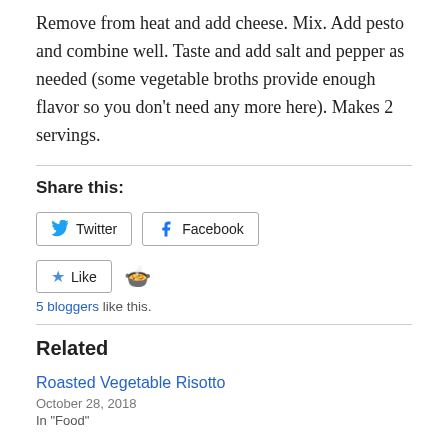Remove from heat and add cheese. Mix. Add pesto and combine well. Taste and add salt and pepper as needed (some vegetable broths provide enough flavor so you don't need any more here). Makes 2 servings.
Share this:
[Figure (other): Twitter and Facebook share buttons]
[Figure (other): Like button with bowl emoji, 5 bloggers like this.]
Related
Roasted Vegetable Risotto
October 28, 2018
In "Food"